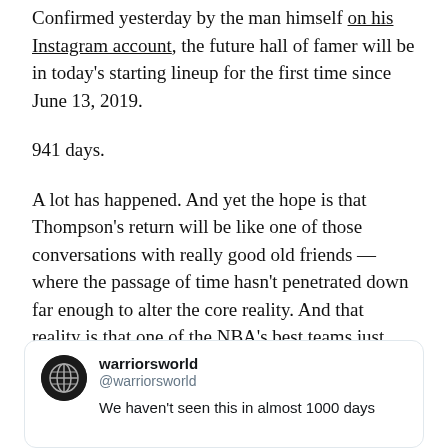Confirmed yesterday by the man himself on his Instagram account, the future hall of famer will be in today's starting lineup for the first time since June 13, 2019.
941 days.
A lot has happened. And yet the hope is that Thompson's return will be like one of those conversations with really good old friends — where the passage of time hasn't penetrated down far enough to alter the core reality. And that reality is that one of the NBA's best teams just added a hall of famer to their roster mid-season.
[Figure (screenshot): Embedded tweet from @warriorsworld account with globe avatar icon, username 'warriorsworld', handle '@warriorsworld', and partial tweet text 'We haven't seen this in almost 1000 days']